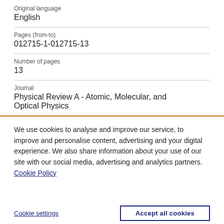Original language
English
Pages (from-to)
012715-1-012715-13
Number of pages
13
Journal
Physical Review A - Atomic, Molecular, and Optical Physics
We use cookies to analyse and improve our service, to improve and personalise content, advertising and your digital experience. We also share information about your use of our site with our social media, advertising and analytics partners.  Cookie Policy
Cookie settings
Accept all cookies